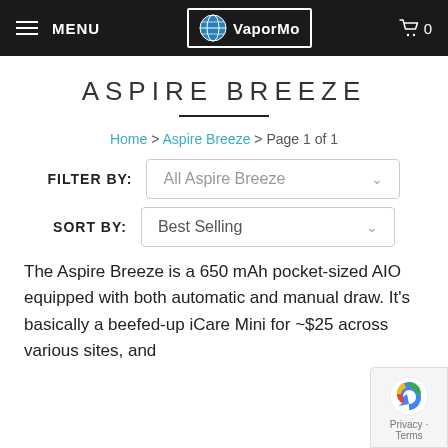MENU  VaporMo  0
ASPIRE BREEZE
Home > Aspire Breeze > Page 1 of 1
FILTER BY: All Aspire Breeze
SORT BY: Best Selling
The Aspire Breeze is a 650 mAh pocket-sized AIO equipped with both automatic and manual draw. It's basically a beefed-up iCare Mini for ~$25 across various sites, and